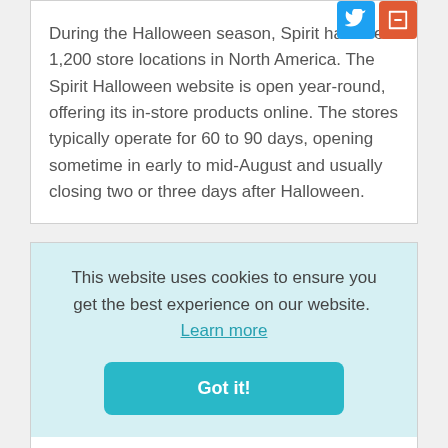During the Halloween season, Spirit has over 1,200 store locations in North America. The Spirit Halloween website is open year-round, offering its in-store products online. The stores typically operate for 60 to 90 days, opening sometime in early to mid-August and usually closing two or three days after Halloween.
This website uses cookies to ensure you get the best experience on our website. Learn more
Got it!
The typical Spirit Halloween Seasonal Sales